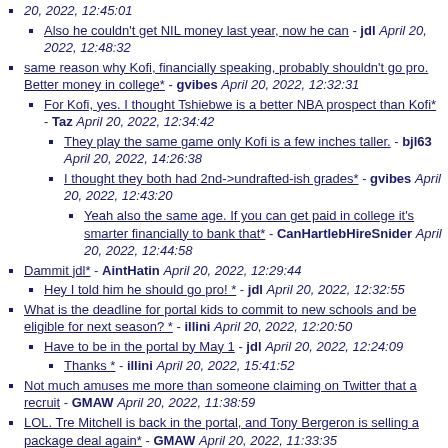20, 2022, 12:45:01
Also he couldn't get NIL money last year, now he can - jdl April 20, 2022, 12:48:32
same reason why Kofi, financially speaking, probably shouldn't go pro. Better money in college* - gvibes April 20, 2022, 12:32:31
For Kofi, yes. I thought Tshiebwe is a better NBA prospect than Kofi* - Taz April 20, 2022, 12:34:42
They play the same game only Kofi is a few inches taller. - bjl63 April 20, 2022, 14:26:38
I thought they both had 2nd->undrafted-ish grades* - gvibes April 20, 2022, 12:43:20
Yeah also the same age. If you can get paid in college it's smarter financially to bank that* - CanHartlebHireSnider April 20, 2022, 12:44:58
Dammit jdl* - AintHatin April 20, 2022, 12:29:44
Hey I told him he should go pro! * - jdl April 20, 2022, 12:32:55
What is the deadline for portal kids to commit to new schools and be eligible for next season? * - illini April 20, 2022, 12:20:50
Have to be in the portal by May 1 - jdl April 20, 2022, 12:24:09
Thanks * - illini April 20, 2022, 15:41:52
Not much amuses me more than someone claiming on Twitter that a recruit - GMAW April 20, 2022, 11:38:59
LOL. Tre Mitchell is back in the portal, and Tony Bergeron is selling a package deal again* - GMAW April 20, 2022, 11:33:35
No surprise we're mentioned with D Jones - jdl April 20, 2022, 11:20:49
yes, please* - VIV April 20, 2022, 12:38:22
Well maybe this time we get him.... - jdl April 20, 2022, 11:11:06
Lol - Myen24 April 20, 2022, 11:27:22